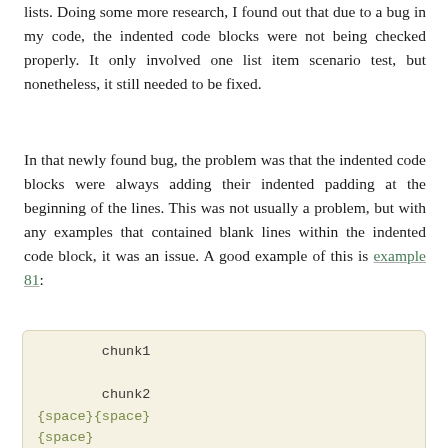lists. Doing some more research, I found out that due to a bug in my code, the indented code blocks were not being checked properly. It only involved one list item scenario test, but nonetheless, it still needed to be fixed.
In that newly found bug, the problem was that the indented code blocks were always adding their indented padding at the beginning of the lines. This was not usually a problem, but with any examples that contained blank lines within the indented code block, it was an issue. A good example of this is example 81:
chunk1

chunk2
{space}{space}
{space}
{space}